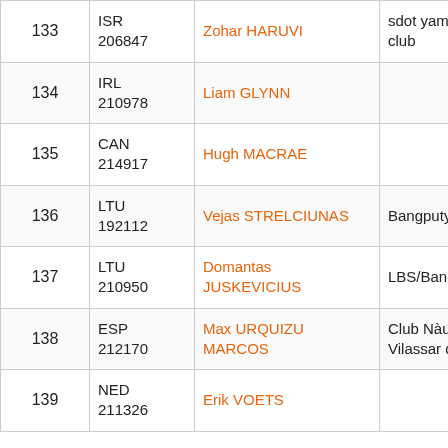| # | Country/Sail | Name | Club |
| --- | --- | --- | --- |
| 133 | ISR
206847 | Zohar HARUVI | sdot yam sailling club |
| 134 | IRL
210978 | Liam GLYNN |  |
| 135 | CAN
214917 | Hugh MACRAE |  |
| 136 | LTU
192112 | Vejas STRELCIUNAS | Bangputys |
| 137 | LTU
210950 | Domantas JUSKEVICIUS | LBS/Bangputys |
| 138 | ESP
212170 | Max URQUIZU MARCOS | Club Nàutic Vilassar de Mar |
| 139 | NED
211326 | Erik VOETS |  |